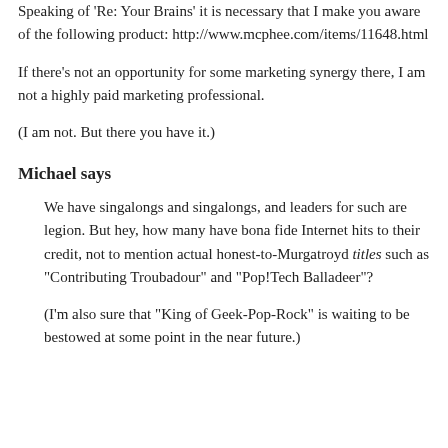Speaking of 'Re: Your Brains' it is necessary that I make you aware of the following product: http://www.mcphee.com/items/11648.html
If there's not an opportunity for some marketing synergy there, I am not a highly paid marketing professional.
(I am not. But there you have it.)
Michael says
We have singalongs and singalongs, and leaders for such are legion. But hey, how many have bona fide Internet hits to their credit, not to mention actual honest-to-Murgatroyd titles such as "Contributing Troubadour" and "Pop!Tech Balladeer"?
(I'm also sure that "King of Geek-Pop-Rock" is waiting to be bestowed at some point in the near future.)